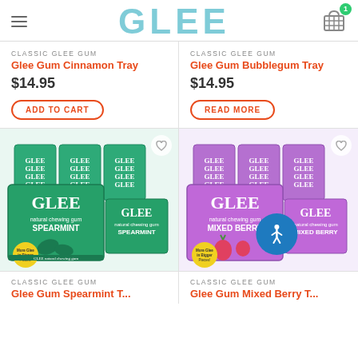GLEE
CLASSIC GLEE GUM
Glee Gum Cinnamon Tray
$14.95
ADD TO CART
CLASSIC GLEE GUM
Glee Gum Bubblegum Tray
$14.95
READ MORE
[Figure (photo): Glee Gum Spearmint Tray - stacked green boxes of Glee natural chewing gum spearmint flavor]
[Figure (photo): Glee Gum Mixed Berry Tray - stacked purple boxes of Glee natural chewing gum mixed berry flavor with accessibility button overlay]
CLASSIC GLEE GUM
Glee Gum Spearmint T...
CLASSIC GLEE GUM
Glee Gum Mixed Berry T...